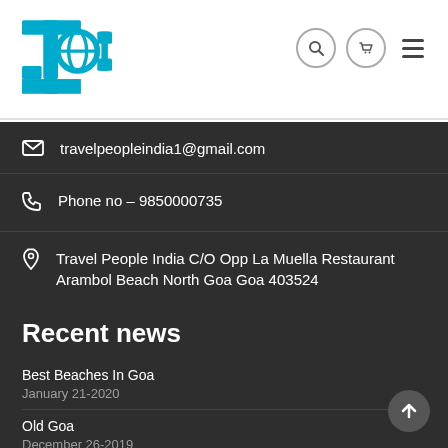[Figure (logo): TPI Travel People India logo in cyan/blue color]
travelpeopleindia1@gmail.com
Phone no – 9850000735
Travel People India C/O Opp La Muella Restaurant Arambol Beach North Goa Goa 403524
Recent news
Best Beaches In Goa
January 21-2020
Old Goa
December 26-2019